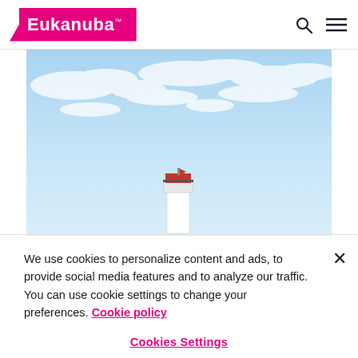Eukanuba™
[Figure (photo): A lighthouse top with red lantern room visible against a bright blue sky with wispy white clouds]
We use cookies to personalize content and ads, to provide social media features and to analyze our traffic. You can use cookie settings to change your preferences. Cookie policy
Cookies Settings